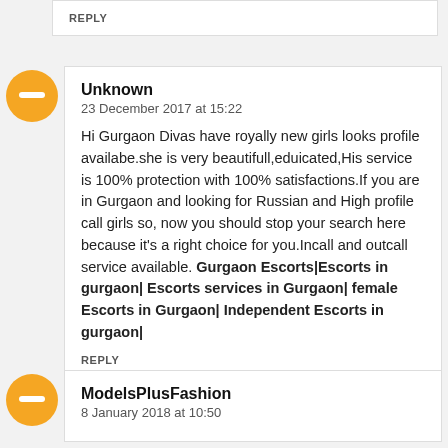REPLY
Unknown
23 December 2017 at 15:22

Hi Gurgaon Divas have royally new girls looks profile availabe.she is very beautifull,eduicated,His service is 100% protection with 100% satisfactions.If you are in Gurgaon and looking for Russian and High profile call girls so, now you should stop your search here because it's a right choice for you.Incall and outcall service available. Gurgaon Escorts|Escorts in gurgaon| Escorts services in Gurgaon| female Escorts in Gurgaon| Independent Escorts in gurgaon|

REPLY
ModelsPlusFashion
8 January 2018 at 10:50